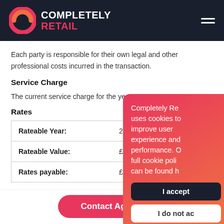COMPLETELY RETAIL
Each party is responsible for their own legal and other professional costs incurred in the transaction.
Service Charge
The current service charge for the year 20...
Rates
|  |  |
| --- | --- |
| Rateable Year: | 2014 |
| Rateable Value: | £26,00... |
| Rates payable: | £12,53... |
[Figure (other): Cookie consent popup overlay with gradient red-orange background showing text: 'Completely Re... uses cookies to improve user experience and performance. Our full cookie poli... can be found h...' with 'I accept' and 'I do not ac...' buttons]
Contact Agents